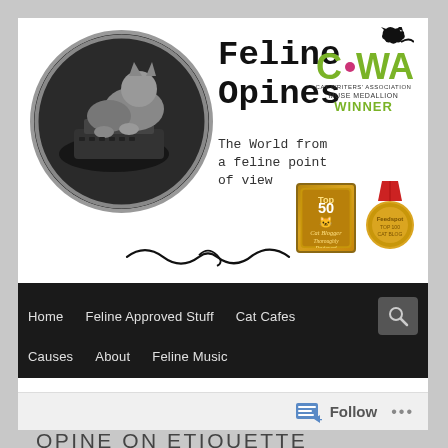[Figure (screenshot): Website header for 'Feline Opines' blog featuring a cat typing at a typewriter in a circular frame, blog title text, CWA Cat Writers Association Muse Medallion Winner badge, Top 50 Cat Blogger badge, and gold medal badge]
Feline Opines
The World from a feline point of view
Home
Feline Approved Stuff
Cat Cafes
Causes
About
Feline Music
TAG ARCHIVES: FELINES OPINE ON ETIQUETTE
Follow ...